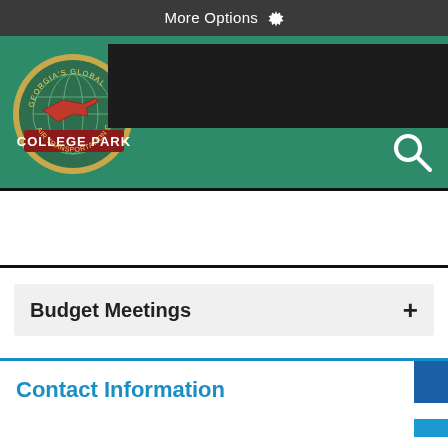More Options ⚙
[Figure (logo): College Park Georgia's Global Air Transportation Gateway circular logo with airplane, globe, and red banner reading COLLEGE PARK]
Budget Meetings +
Contact Information